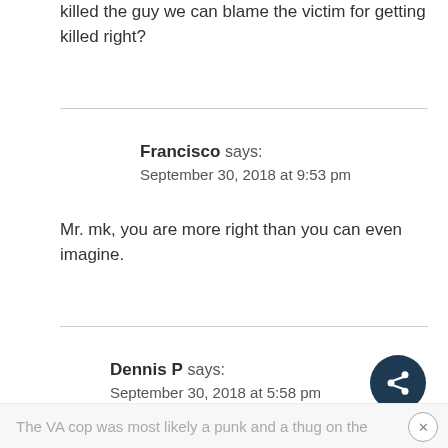killed the guy we can blame the victim for getting killed right?
Francisco says:
September 30, 2018 at 9:53 pm
Mr. mk, you are more right than you can even imagine.
Dennis P says:
September 30, 2018 at 5:58 pm
The VA cop was most likely a punk and a thug on the